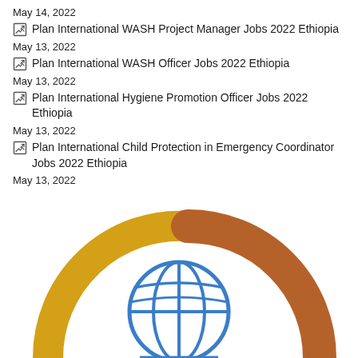May 14, 2022
Plan International WASH Project Manager Jobs 2022 Ethiopia
May 13, 2022
Plan International WASH Officer Jobs 2022 Ethiopia
May 13, 2022
Plan International Hygiene Promotion Officer Jobs 2022 Ethiopia
May 13, 2022
Plan International Child Protection in Emergency Coordinator Jobs 2022 Ethiopia
May 13, 2022
[Figure (logo): Plan International logo — a globe icon in blue with two arching bands in gold/yellow and brown/orange above it]